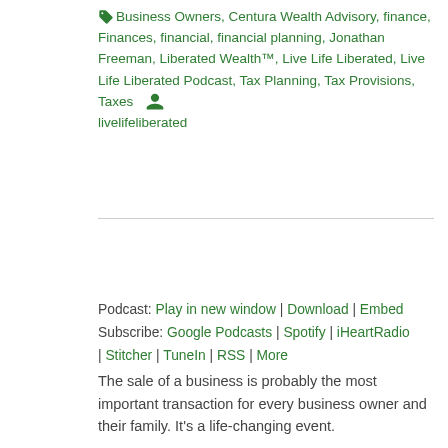🏷 Business Owners, Centura Wealth Advisory, finance, Finances, financial, financial planning, Jonathan Freeman, Liberated Wealth™, Live Life Liberated, Live Life Liberated Podcast, Tax Planning, Tax Provisions, Taxes 👤 livelifeliberated
[Figure (other): Audio player widget with play button, time display 00:00, progress bar, and end time 00:00, on dark background]
Podcast: Play in new window | Download | Embed
Subscribe: Google Podcasts | Spotify | iHeartRadio | Stitcher | TuneIn | RSS | More
The sale of a business is probably the most important transaction for every business owner and their family. It's a life-changing event.
In part two of this M&A series, Derek Myron talks to Eliot Peters, managing director at RA Capital Advisors, to explore the growing opportunities in the M&A space. Considering that interest rates are at